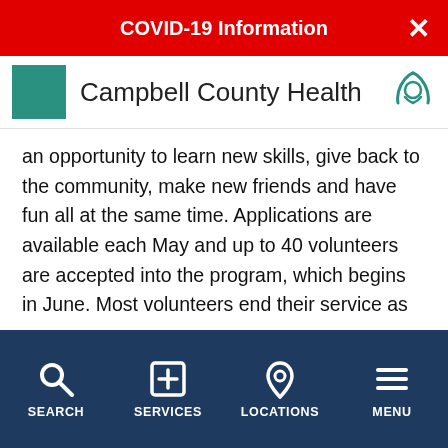COVID-19 Information
[Figure (logo): Campbell County Health logo with teal crescent moon icon and organization name]
an opportunity to learn new skills, give back to the community, make new friends and have fun all at the same time. Applications are available each May and up to 40 volunteers are accepted into the program, which begins in June. Most volunteers end their service as the new school year begins in the fall, while a few opt to volunteer in the winter months.
Volunteers are expected to spend at least three
SEARCH   SERVICES   LOCATIONS   MENU